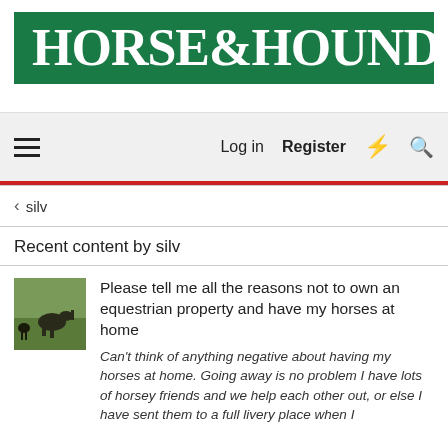[Figure (logo): Horse & Hound magazine logo — white serif text on dark green background]
Log in  Register  ⚡  🔍
‹  silv
Recent content by silv
[Figure (photo): Small thumbnail image of a horse and rider or horses in a field]
Please tell me all the reasons not to own an equestrian property and have my horses at home
Can't think of anything negative about having my horses at home. Going away is no problem I have lots of horsey friends and we help each other out, or else I have sent them to a full livery place when I